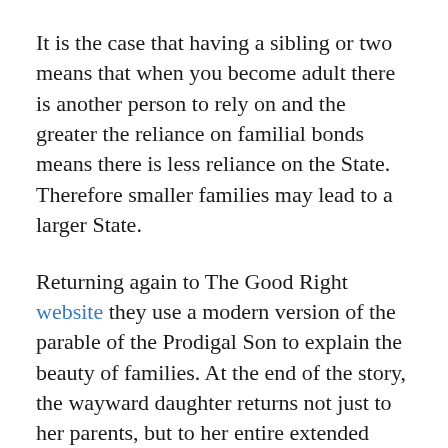It is the case that having a sibling or two means that when you become adult there is another person to rely on and the greater the reliance on familial bonds means there is less reliance on the State. Therefore smaller families may lead to a larger State.
Returning again to The Good Right website they use a modern version of the parable of the Prodigal Son to explain the beauty of families. At the end of the story, the wayward daughter returns not just to her parents, but to her entire extended family, “her whole extended family are there waiting for her. Forty aunts, uncles, brothers, sisters, cousins, grandparents — all with balloons and “welcome home” banners.”
This is a nice image, only it is fast becoming a fantasy. With the rise and the rise of the only